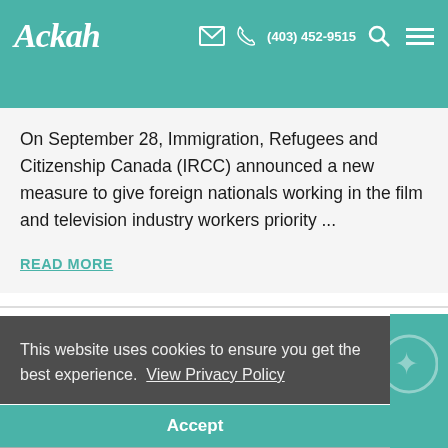Ckah  (403) 452-9515
On September 28, Immigration, Refugees and Citizenship Canada (IRCC) announced a new measure to give foreign nationals working in the film and television industry workers priority ...
READ MORE
This website uses cookies to ensure you get the best experience.  View Privacy Policy
Accept